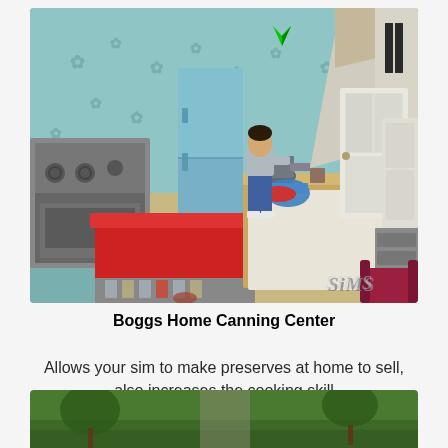[Figure (screenshot): The Sims game screenshot showing a kitchen/canning area with a sim character standing at a counter, refrigerator, cooking equipment, red table, and Sims logo watermark]
Boggs Home Canning Center
Allows your sim to make preserves at home to sell, also increases the cooking skill
[Figure (screenshot): Partial screenshot showing green outdoor/grass area at bottom of page]